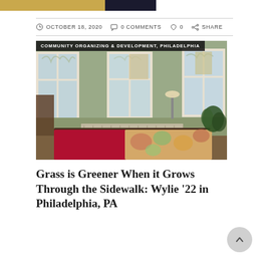OCTOBER 18, 2020   0 COMMENTS   0   SHARE
[Figure (photo): Interior bedroom photo showing a bed with a crimson and floral quilt, large windows with winter trees visible outside, and room furniture including a desk and lamp. Tag reads: COMMUNITY ORGANIZING & DEVELOPMENT, PHILADELPHIA]
Grass is Greener When it Grows Through the Sidewalk: Wylie '22 in Philadelphia, PA